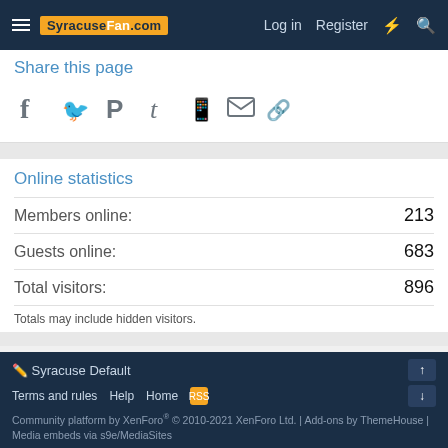SyracuseFan.com — Log in  Register
Share this page
[Figure (other): Social share icons: Facebook, Twitter, Pinterest, Tumblr, WhatsApp, Email, Link]
Online statistics
| Stat | Value |
| --- | --- |
| Members online: | 213 |
| Guests online: | 683 |
| Total visitors: | 896 |
Totals may include hidden visitors.
< Syracuse Football Board
Syracuse Default  Terms and rules  Help  Home  Community platform by XenForo® © 2010-2021 XenForo Ltd. | Add-ons by ThemeHouse | Media embeds via s9e/MediaSites